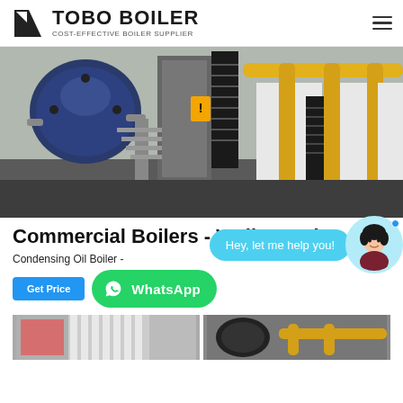TOBO BOILER — COST-EFFECTIVE BOILER SUPPLIER
[Figure (photo): Industrial boiler room showing large blue boilers with yellow pipework, metal staircases, and white equipment cabinets in a commercial facility.]
Commercial Boilers - Weil-McLain
Condensing Oil Boiler - ... kw
[Figure (screenshot): Chat widget showing a customer service avatar with 'Hey, let me help you!' bubble, WhatsApp button, and Get Price button.]
[Figure (photo): Two bottom thumbnail images of boiler equipment partially visible at the bottom of the page.]